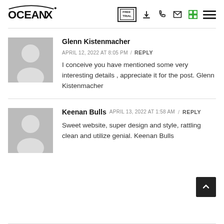OceanX — navigation header with logo and icons
Glenn Kistenmacher
APRIL 12, 2022 AT 8:05 PM / REPLY
I conceive you have mentioned some very interesting details , appreciate it for the post. Glenn Kistenmacher
Keenan Bulls
APRIL 13, 2022 AT 1:58 AM / REPLY
Sweet website, super design and style, rattling clean and utilize genial. Keenan Bulls